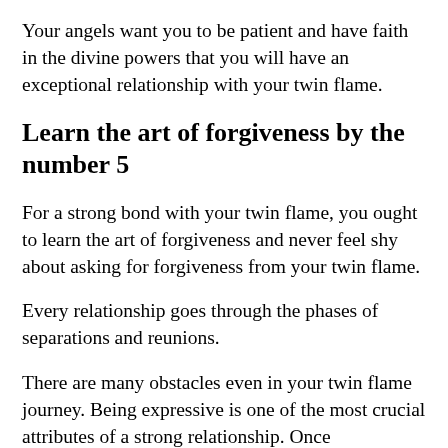Your angels want you to be patient and have faith in the divine powers that you will have an exceptional relationship with your twin flame.
Learn the art of forgiveness by the number 5
For a strong bond with your twin flame, you ought to learn the art of forgiveness and never feel shy about asking for forgiveness from your twin flame.
Every relationship goes through the phases of separations and reunions.
There are many obstacles even in your twin flame journey. Being expressive is one of the most crucial attributes of a strong relationship. Once